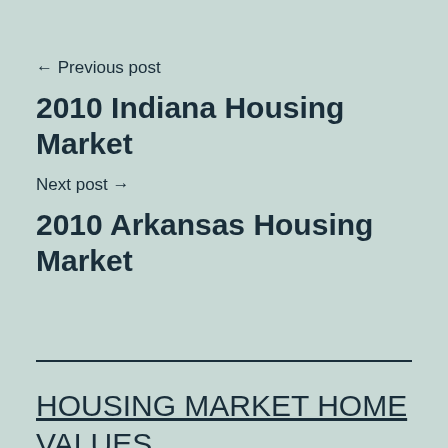← Previous post
2010 Indiana Housing Market
Next post →
2010 Arkansas Housing Market
HOUSING MARKET HOME VALUES, MORTGAGE RATES, REAL ESTATE